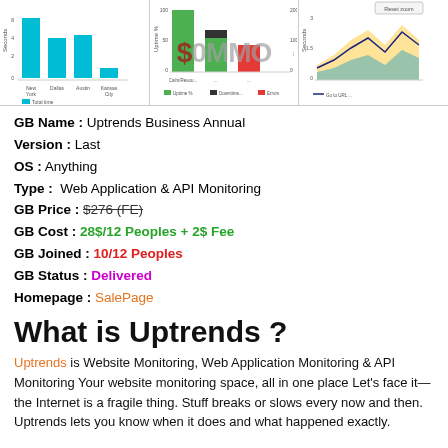[Figure (screenshot): Three dashboard charts showing bar chart of response times by city, uptime/downtime bar chart, and a line chart with area fill, overlaid with a $0MMO watermark logo]
GB Name : Uptrends Business Annual
Version : Last
OS : Anything
Type :  Web Application & API Monitoring
GB Price : $276 (FE)
GB Cost : 28$/12 Peoples + 2$ Fee
GB Joined : 10/12 Peoples
GB Status : Delivered
Homepage : SalePage
What is Uptrends ?
Uptrends is Website Monitoring, Web Application Monitoring & API Monitoring Your website monitoring space, all in one place Let's face it—the Internet is a fragile thing. Stuff breaks or slows every now and then. Uptrends lets you know when it does and what happened exactly.